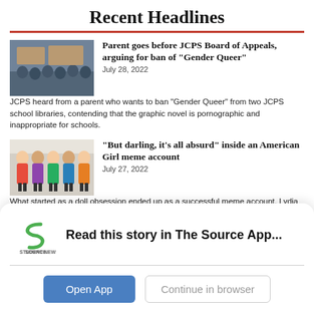Recent Headlines
[Figure (photo): Thumbnail of a school board meeting with audience]
Parent goes before JCPS Board of Appeals, arguing for ban of “Gender Queer”
July 28, 2022
JCPS heard from a parent who wants to ban “Gender Queer” from two JCPS school libraries, contending that the graphic novel is pornographic and inappropriate for schools.
[Figure (photo): Thumbnail of American Girl dolls in a row]
“But darling, it’s all absurd” inside an American Girl meme account
July 27, 2022
What started as a doll obsession ended up as a successful meme account. Lydia B, creator of the klit.klittredge never imagined her page would go viral but when it did she understood why it resonated.
[Figure (photo): Thumbnail of Forecastle 2022 festival with flags in sky]
Alone in a crowd: Forecastle 2022
May 30, 2022
Read this story in The Source App...
Open App
Continue in browser